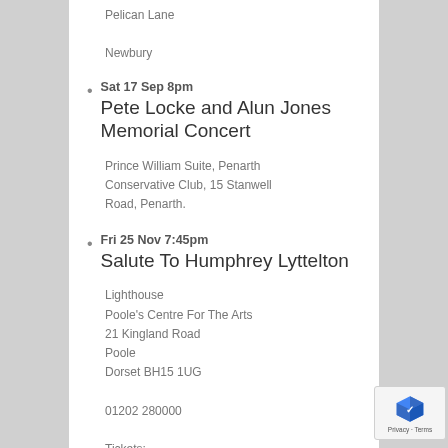Pelican Lane

Newbury
Sat 17 Sep 8pm
Pete Locke and Alun Jones Memorial Concert
Prince William Suite, Penarth Conservative Club, 15 Stanwell Road, Penarth.
Fri 25 Nov 7:45pm
Salute To Humphrey Lyttelton
Lighthouse
Poole's Centre For The Arts
21 Kingland Road
Poole
Dorset BH15 1UG

01202 280000

Tickets: https://www.lighthousepoole.co.uk/whats-